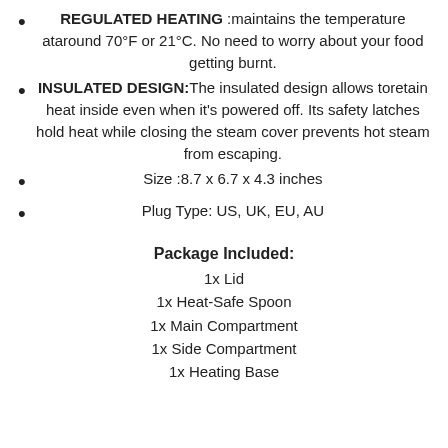REGULATED HEATING :maintains the temperature ataround 70°F or 21°C. No need to worry about your food getting burnt.
INSULATED DESIGN:The insulated design allows toretain heat inside even when it's powered off. Its safety latches hold heat while closing the steam cover prevents hot steam from escaping.
Size :8.7 x 6.7 x 4.3 inches
Plug Type: US, UK, EU, AU
Package Included:
1x Lid
1x Heat-Safe Spoon
1x Main Compartment
1x Side Compartment
1x Heating Base